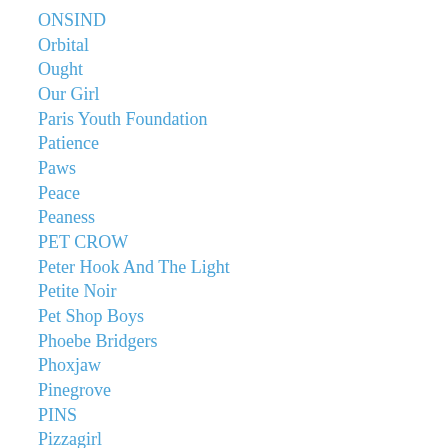ONSIND
Orbital
Ought
Our Girl
Paris Youth Foundation
Patience
Paws
Peace
Peaness
PET CROW
Peter Hook And The Light
Petite Noir
Pet Shop Boys
Phoebe Bridgers
Phoxjaw
Pinegrove
PINS
Pizzagirl
Pizzatramp
Placebo
Post War Glamour Girls